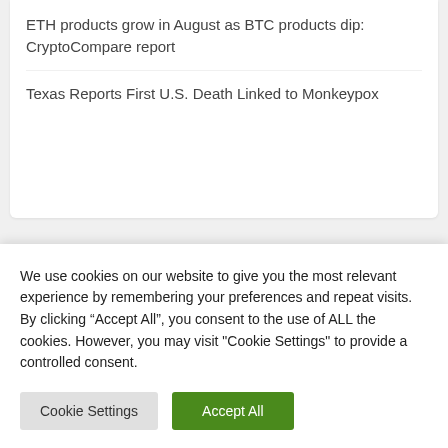ETH products grow in August as BTC products dip: CryptoCompare report
Texas Reports First U.S. Death Linked to Monkeypox
Popular Posts
We use cookies on our website to give you the most relevant experience by remembering your preferences and repeat visits. By clicking “Accept All”, you consent to the use of ALL the cookies. However, you may visit "Cookie Settings" to provide a controlled consent.